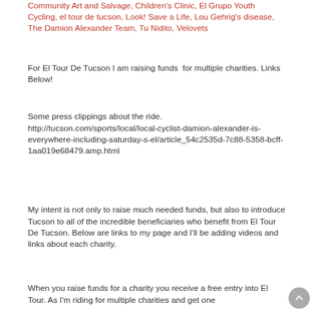Community Art and Salvage, Children's Clinic, El Grupo Youth Cycling, el tour de tucson, Look! Save a Life, Lou Gehrig's disease, The Damion Alexander Team, Tu Nidito, Velovets
For El Tour De Tucson I am raising funds  for multiple charities. Links Below!
Some press clippings about the ride. http://tucson.com/sports/local/local-cyclist-damion-alexander-is-everywhere-including-saturday-s-el/article_54c2535d-7c88-5358-bcff-1aa019e68479.amp.html
My intent is not only to raise much needed funds, but also to introduce Tucson to all of the incredible beneficiaries who benefit from El Tour De Tucson. Below are links to my page and I'll be adding videos and links about each charity.
When you raise funds for a charity you receive a free entry into El Tour. As I'm riding for multiple charities and get one